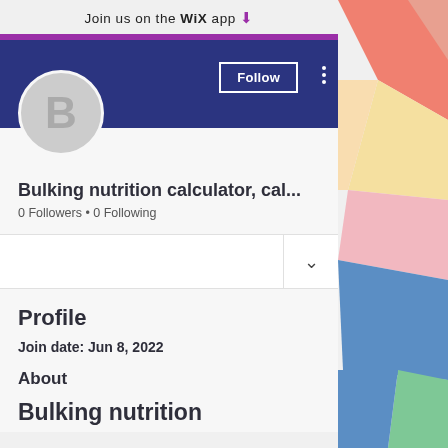Join us on the WiX app
B
Follow
Bulking nutrition calculator, cal...
0 Followers • 0 Following
Profile
Join date: Jun 8, 2022
About
Bulking nutrition